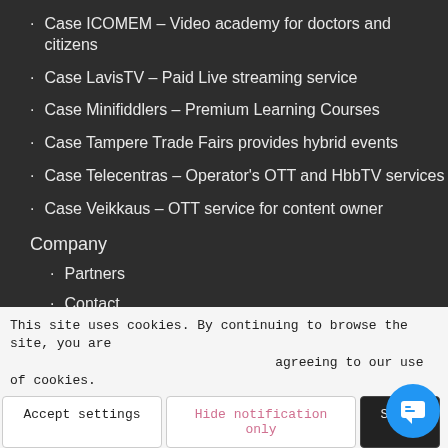Case ICOMEM – Video academy for doctors and citizens
Case LavisTV – Paid Live streaming service
Case Minifiddlers – Premium Learning Courses
Case Tampere Trade Fairs provides hybrid events
Case Telecentras – Operator's OTT and HbbTV services
Case Veikkaus – OTT service for content owner
Company
Partners
Contact
News & Blog
Helpdesk
This site uses cookies. By continuing to browse the site, you are agreeing to our use of cookies.
Accept settings | Hide notification only | Settings